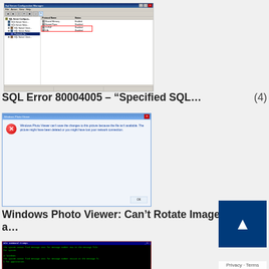[Figure (screenshot): SQL Server Configuration Manager window showing protocol list with TCP/IP highlighted in red box as Disabled]
SQL Error 80004005 – "Specified SQL… (4)
[Figure (screenshot): Windows Photo Viewer error dialog: 'Windows Photo Viewer can't save the changes to this picture because the file isn't available. The picture might have been deleted or you might have lost your network connection.' with OK button]
Windows Photo Viewer: Can't Rotate Images on a… (4)
[Figure (screenshot): Command prompt window showing green text error messages on black background]